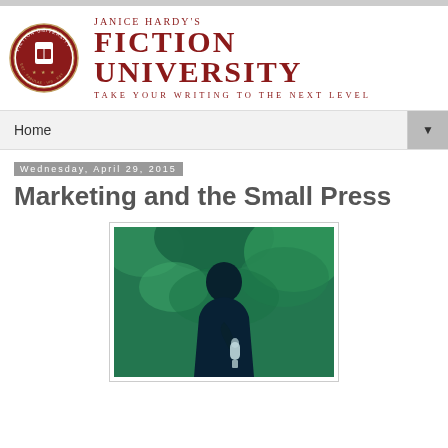[Figure (logo): Janice Hardy's Fiction University logo with circular seal and text]
Home
Wednesday, April 29, 2015
Marketing and the Small Press
[Figure (photo): A dark silhouette of a person holding a microphone against a green leafy background]